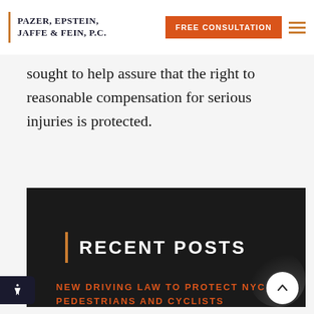PAZER, EPSTEIN, JAFFE & FEIN, P.C. | FREE CONSULTATION
sought to help assure that the right to reasonable compensation for serious injuries is protected.
RECENT POSTS
NEW DRIVING LAW TO PROTECT NYC PEDESTRIANS AND CYCLISTS